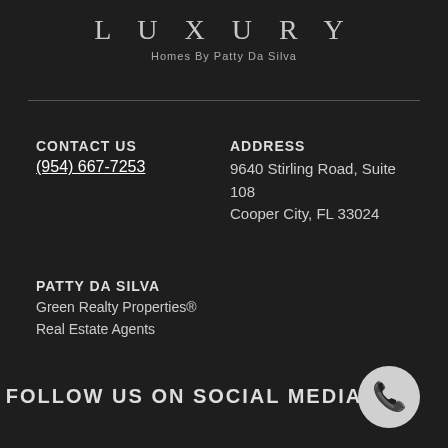LUXURY
Homes By Patty Da Silva
CONTACT US
(954) 667-7253
ADDRESS
9640 Stirling Road, Suite 108
Cooper City, FL 33024
PATTY DA SILVA
Green Realty Properties®
Real Estate Agents
FOLLOW US ON SOCIAL MEDIA
[Figure (illustration): White circular phone icon button in bottom right corner]